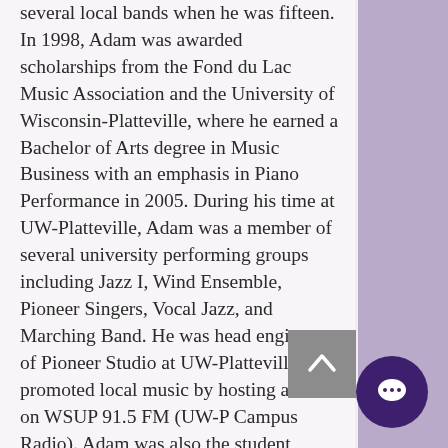several local bands when he was fifteen. In 1998, Adam was awarded scholarships from the Fond du Lac Music Association and the University of Wisconsin-Platteville, where he earned a Bachelor of Arts degree in Music Business with an emphasis in Piano Performance in 2005. During his time at UW-Platteville, Adam was a member of several university performing groups including Jazz I, Wind Ensemble, Pioneer Singers, Vocal Jazz, and Marching Band. He was head engineer of Pioneer Studio at UW-Platteville, and promoted local music by hosting a show on WSUP 91.5 FM (UW-P Campus Radio). Adam was also the student advisor for ALT ARTS, a community, student, and faculty organization promoting performance arts in Southwestern Wisconsin. After college Adam moved to Madison, and has been